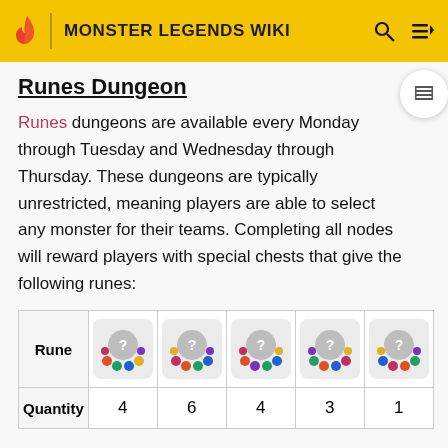MONSTER LEGENDS WIKI
Runes Dungeon
Runes dungeons are available every Monday through Tuesday and Wednesday through Thursday. These dungeons are typically unrestricted, meaning players are able to select any monster for their teams. Completing all nodes will reward players with special chests that give the following runes:
| Rune | [rune icon 1] | [rune icon 2] | [rune icon 3] | [rune icon 4] | [rune icon 5] |
| --- | --- | --- | --- | --- | --- |
| Quantity | 4 | 6 | 4 | 3 | 1 |